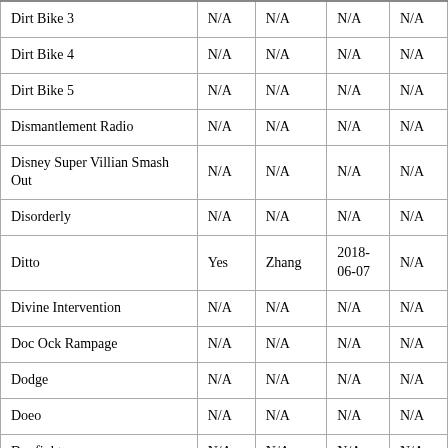| Dirt Bike 3 | N/A | N/A | N/A | N/A |
| Dirt Bike 4 | N/A | N/A | N/A | N/A |
| Dirt Bike 5 | N/A | N/A | N/A | N/A |
| Dismantlement Radio | N/A | N/A | N/A | N/A |
| Disney Super Villian Smash Out | N/A | N/A | N/A | N/A |
| Disorderly | N/A | N/A | N/A | N/A |
| Ditto | Yes | Zhang | 2018-06-07 | N/A |
| Divine Intervention | N/A | N/A | N/A | N/A |
| Doc Ock Rampage | N/A | N/A | N/A | N/A |
| Dodge | N/A | N/A | N/A | N/A |
| Doeo | N/A | N/A | N/A | N/A |
| Dogfight | N/A | N/A | N/A | N/A |
| Dogfight 2 | N/A | N/A | N/A | N/A |
| Dogfight Aces | N/A | N/A | N/A | N/A |
| DoliDon | N/A | N/A | N/A | N/A |